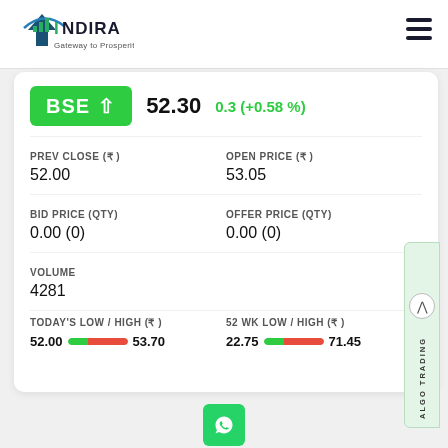[Figure (logo): Indira Securities logo with text 'NDIRA Gateway to Prosperity']
BSE ↑  52.30  0.3 (+0.58 %)
PREV CLOSE (₹)
52.00
OPEN PRICE (₹)
53.05
BID PRICE (QTY)
0.00 (0)
OFFER PRICE (QTY)
0.00 (0)
VOLUME
4281
TODAY'S LOW / HIGH (₹)  52.00 ▬ 53.70
52 WK LOW / HIGH (₹)  22.75 ▬ 71.45